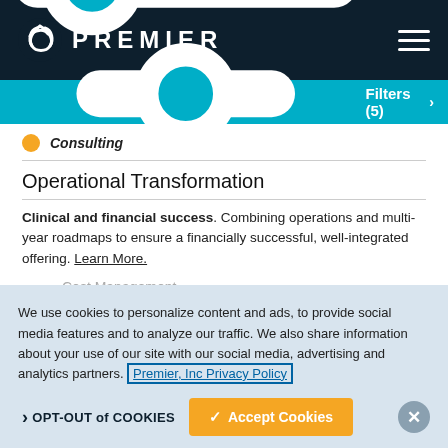PREMIER
Filters (5) >
Consulting
Operational Transformation
Clinical and financial success. Combining operations and multi-year roadmaps to ensure a financially successful, well-integrated offering. Learn More.
Cost Management
We use cookies to personalize content and ads, to provide social media features and to analyze our traffic. We also share information about your use of our site with our social media, advertising and analytics partners. Premier, Inc Privacy Policy
OPT-OUT of COOKIES | Accept Cookies